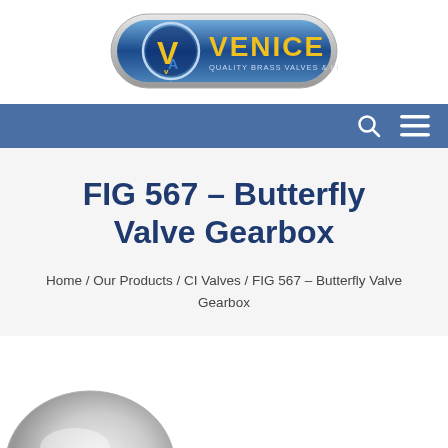[Figure (logo): Venice Quality Brass Valves & Fittings logo — oval shape with blue gradient background, stylized VA letters in yellow/blue, VENICE text in yellow, tagline QUALITY BRASS VALVES & FITTINGS below]
Navigation bar with search icon and hamburger menu
FIG 567 – Butterfly Valve Gearbox
Home / Our Products / CI Valves / FIG 567 – Butterfly Valve Gearbox
[Figure (photo): Partial view of a butterfly valve gearbox product (silver/grey metallic component), cropped at bottom of page]